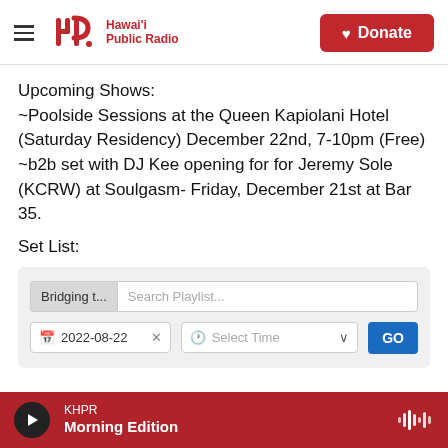Hawai'i Public Radio — Donate
Upcoming Shows:
~Poolside Sessions at the Queen Kapiolani Hotel (Saturday Residency) December 22nd, 7-10pm (Free)
~b2b set with DJ Kee opening for for Jeremy Sole (KCRW) at Soulgasm- Friday, December 21st at Bar 35.
Set List:
[Figure (screenshot): Playlist search widget with 'Bridging t...' tag, Search Playlist input, date field showing 2022-08-22, Select Time dropdown, and GO button]
KHPR Morning Edition